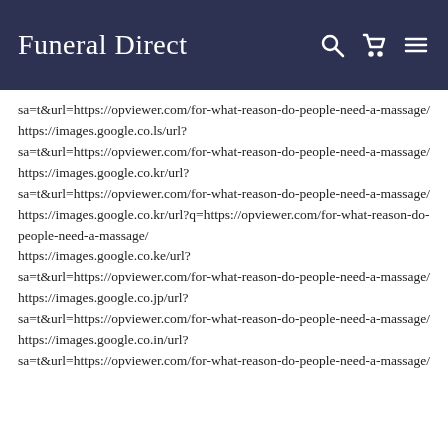Funeral Direct
sa=t&url=https://opviewer.com/for-what-reason-do-people-need-a-massage/
https://images.google.co.ls/url?sa=t&url=https://opviewer.com/for-what-reason-do-people-need-a-massage/
https://images.google.co.kr/url?sa=t&url=https://opviewer.com/for-what-reason-do-people-need-a-massage/
https://images.google.co.kr/url?q=https://opviewer.com/for-what-reason-do-people-need-a-massage/
https://images.google.co.ke/url?sa=t&url=https://opviewer.com/for-what-reason-do-people-need-a-massage/
https://images.google.co.jp/url?sa=t&url=https://opviewer.com/for-what-reason-do-people-need-a-massage/
https://images.google.co.in/url?sa=t&url=https://opviewer.com/for-what-reason-do-people-need-a-massage/